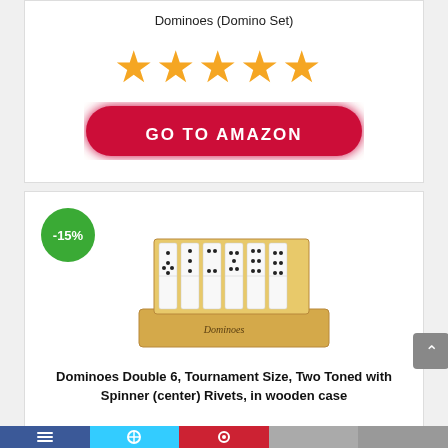Dominoes (Domino Set)
[Figure (other): Five orange star rating icons]
[Figure (other): GO TO AMAZON button - red pill-shaped button with white bold text]
[Figure (other): -15% green circular discount badge]
[Figure (photo): Domino set in a wooden case, dominoes displayed upright in the open box]
Dominoes Double 6, Tournament Size, Two Toned with Spinner (center) Rivets, in wooden case
Social media share bar at the bottom